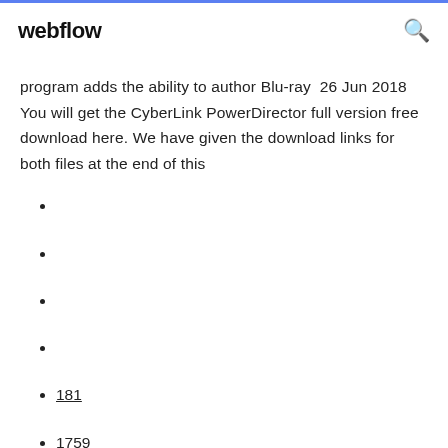webflow
program adds the ability to author Blu-ray  26 Jun 2018 You will get the CyberLink PowerDirector full version free download here. We have given the download links for both files at the end of this
181
1759
272